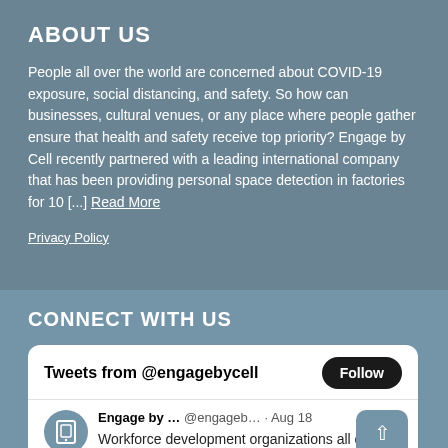ABOUT US
People all over the world are concerned about COVID-19 exposure, social distancing, and safety. So how can businesses, cultural venues, or any place where people gather ensure that health and safety receive top priority? Engage by Cell recently partnered with a leading international company that has been providing personal space detection in factories for 10 [...] Read More
Privacy Policy
CONNECT WITH US
[Figure (screenshot): Twitter widget showing Tweets from @engagebycell with a Follow button, and a tweet from Engage by ... @engageb... · Aug 18 reading 'Workforce development organizations all over the country like Burlington County,']